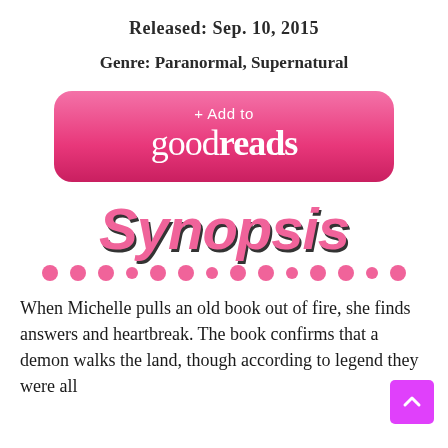Released: Sep. 10, 2015
Genre: Paranormal, Supernatural
[Figure (logo): Pink rounded rectangle button with '+ Add to goodreads' text in white]
[Figure (illustration): Decorative 'Synopsis' text in large pink italic font with dark shadow, followed by a row of pink dots]
When Michelle pulls an old book out of fire, she finds answers and heartbreak. The book confirms that a demon walks the land, though according to legend they were all